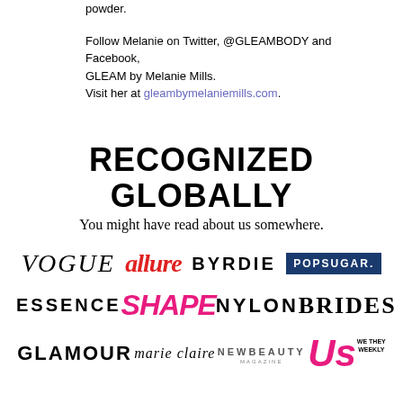powder.
Follow Melanie on Twitter, @GLEAMBODY and Facebook, GLEAM by Melanie Mills.
Visit her at gleambymelaniemills.com.
RECOGNIZED GLOBALLY
You might have read about us somewhere.
[Figure (logo): Media publication logos: VOGUE, allure, BYRDIE, POPSUGAR., ESSENCE, SHAPE, NYLON, BRIDES, GLAMOUR, marie claire, NEWBEAUTY MAGAZINE, Us Weekly]